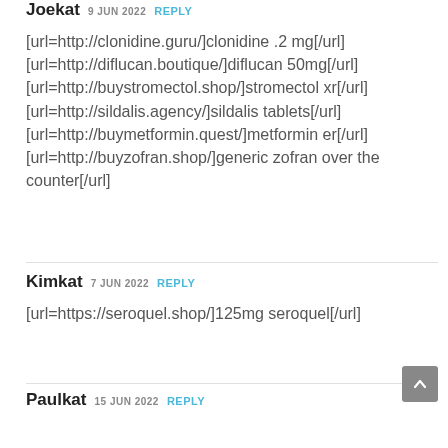Joekat 9 JUN 2022 REPLY
[url=http://clonidine.guru/]clonidine .2 mg[/url] [url=http://diflucan.boutique/]diflucan 50mg[/url] [url=http://buystromectol.shop/]stromectol xr[/url] [url=http://sildalis.agency/]sildalis tablets[/url] [url=http://buymetformin.quest/]metformin er[/url] [url=http://buyzofran.shop/]generic zofran over the counter[/url]
Kimkat 7 JUN 2022 REPLY
[url=https://seroquel.shop/]125mg seroquel[/url]
Paulkat 15 JUN 2022 REPLY